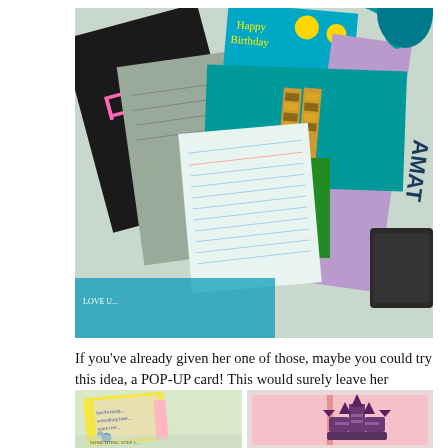[Figure (photo): A collection of colorful greeting cards and bookmarks spread on a table, including a black card with pink Japanese-style text, a blue Happy Birthday card, a purple card, a tulip photo, and teal ribbons.]
If you've already given her one of those, maybe you could try this idea, a POP-UP card! This would surely leave her breathless.
[Figure (photo): Two images of pop-up cards: left shows a yellow card with blue floral print text, right shows a pink card with a dark purple ornate pop-up figure.]